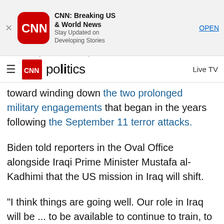[Figure (screenshot): CNN Breaking US & World News app advertisement banner with CNN logo, title, subtitle 'Stay Updated on Developing Stories', and OPEN button]
CNN politics  Live TV
Washington ... Biden agreed on Monday to formally conclude the US combat toward winding down the two prolonged military engagements that began in the years following the September 11 terror attacks.
Biden told reporters in the Oval Office alongside Iraqi Prime Minister Mustafa al-Kadhimi that the US mission in Iraq will shift.
"I think things are going well. Our role in Iraq will be ... to be available to continue to train, to assist, to help, and to deal with ISIS -- as it arrives. But we're not going to be, by the end of the year, in a combat